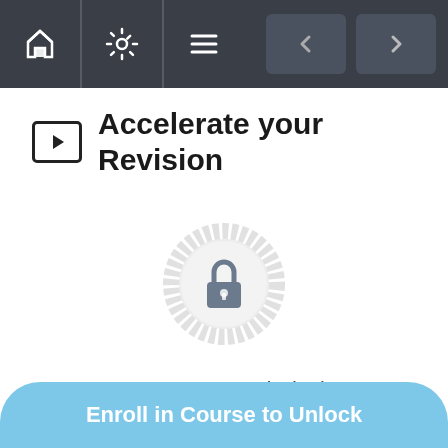[Figure (screenshot): Top navigation bar with home icon, settings icon, hamburger menu icon, and left/right navigation arrow buttons on dark background]
Accelerate your Revision
[Figure (illustration): A lock icon centered within a decorative circular gear/badge shape in light gray, indicating locked lecture content]
Lecture content locked
If you're already enrolled, you'll need to login.
Enroll in Course to Unlock